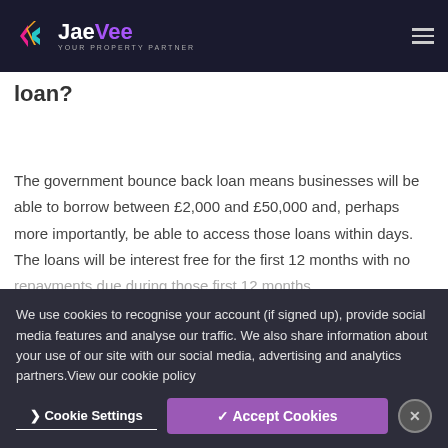JaeVee — YOUR PROPERTY PARTNER
…is the government bounce back loan?
The government bounce back loan means businesses will be able to borrow between £2,000 and £50,000 and, perhaps more importantly, be able to access those loans within days. The loans will be interest free for the first 12 months with no repayments due during those first 12 months.
We use cookies to recognise your account (if signed up), provide social media features and analyse our traffic. We also share information about your use of our site with our social media, advertising and analytics partners.View our cookie policy